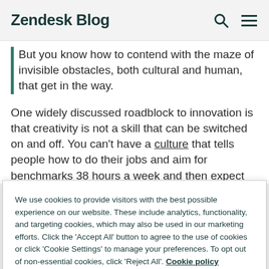Zendesk Blog
But you know how to contend with the maze of invisible obstacles, both cultural and human, that get in the way.
One widely discussed roadblock to innovation is that creativity is not a skill that can be switched on and off. You can't have a culture that tells people how to do their jobs and aim for benchmarks 38 hours a week and then expect
We use cookies to provide visitors with the best possible experience on our website. These include analytics, functionality, and targeting cookies, which may also be used in our marketing efforts. Click the 'Accept All' button to agree to the use of cookies or click 'Cookie Settings' to manage your preferences. To opt out of non-essential cookies, click 'Reject All'. Cookie policy
Cookie settings
Reject all